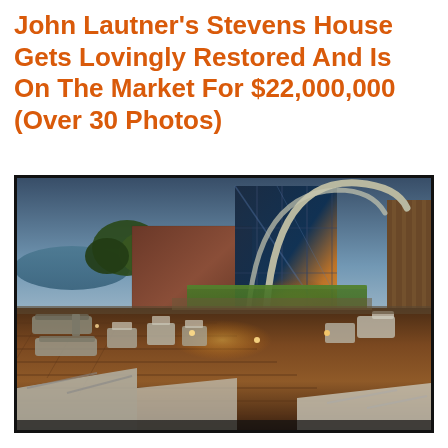John Lautner's Stevens House Gets Lovingly Restored And Is On The Market For $22,000,000 (Over 30 Photos)
[Figure (photo): Exterior photograph of John Lautner's Stevens House at dusk, showing the iconic arched glass structure, warm interior lighting, wooden deck with outdoor furniture and lounge chairs, green lawn area, and ocean view in the background.]